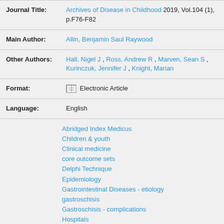Journal Title: Archives of Disease in Childhood 2019, Vol.104 (1), p.F76-F82
Main Author: Allin, Benjamin Saul Raywood
Other Authors: Hall, Nigel J , Ross, Andrew R , Marven, Sean S , Kurinczuk, Jennifer J , Knight, Marian
Format: Electronic Article
Language: English
Abridged Index Medicus
Children & youth
Clinical medicine
core outcome sets
Delphi Technique
Epidemiology
Gastrointestinal Diseases - etiology
gastroschisis
Gastroschisis - complications
Hospitals
Humans
Liver Diseases - etiology
Original Article
Outcome and Process Assessment, Health Care -